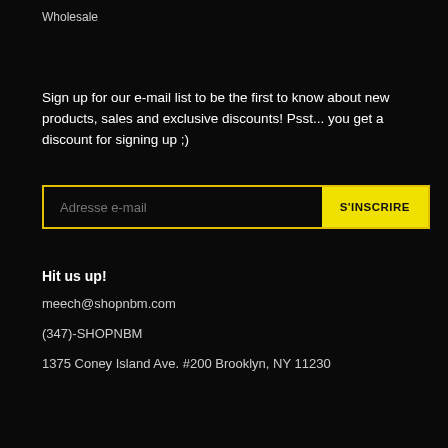Wholesale
Sign up for our e-mail list to be the first to know about new products, sales and exclusive discounts! Psst... you get a discount for signing up ;)
[Figure (other): Email signup form with placeholder 'Adresse e-mail' and a yellow button labeled S'INSCRIRE]
Hit us up!
meech@shopnbm.com
(347)-SHOPNBM
1375 Coney Island Ave. #200 Brooklyn, NY 11230